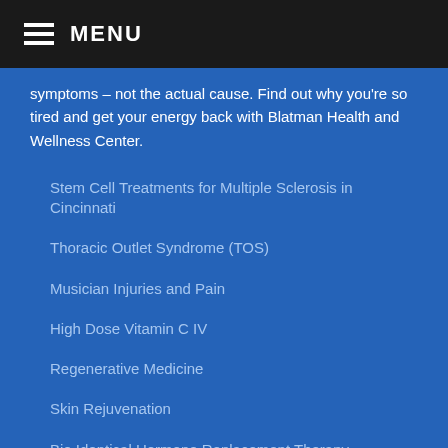MENU
symptoms – not the actual cause. Find out why you're so tired and get your energy back with Blatman Health and Wellness Center.
Stem Cell Treatments for Multiple Sclerosis in Cincinnati
Thoracic Outlet Syndrome (TOS)
Musician Injuries and Pain
High Dose Vitamin C IV
Regenerative Medicine
Skin Rejuvenation
Bio Identical Hormone Replacement Therapy